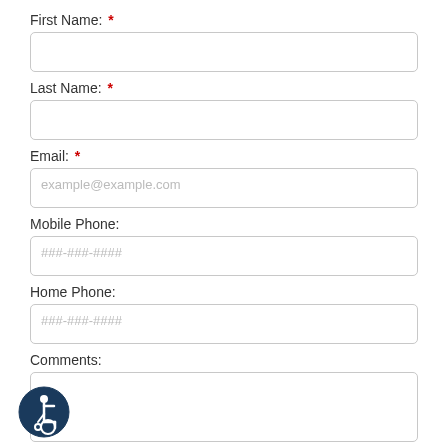First Name: *
Last Name: *
Email: *
Mobile Phone:
Home Phone:
Comments:
[Figure (illustration): Wheelchair accessibility icon, dark navy blue circle with white figure in wheelchair]